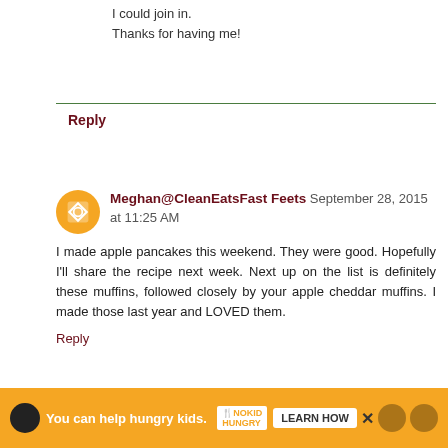I could join in.
Thanks for having me!
Reply
Meghan@CleanEatsFast Feets  September 28, 2015 at 11:25 AM
I made apple pancakes this weekend. They were good. Hopefully I'll share the recipe next week. Next up on the list is definitely these muffins, followed closely by your apple cheddar muffins. I made those last year and LOVED them.
Reply
Replies
Kirsten  November 3, 2015 at 10:04 AM
Meghan,
You can help hungry kids.  NOKID HUNGRY  LEARN HOW